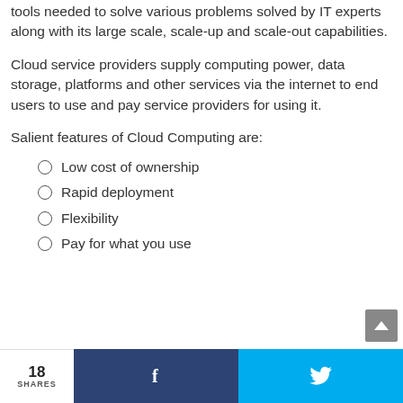tools needed to solve various problems solved by IT experts along with its large scale, scale-up and scale-out capabilities.
Cloud service providers supply computing power, data storage, platforms and other services via the internet to end users to use and pay service providers for using it.
Salient features of Cloud Computing are:
Low cost of ownership
Rapid deployment
Flexibility
Pay for what you use
18 SHARES  [Facebook share]  [Twitter share]